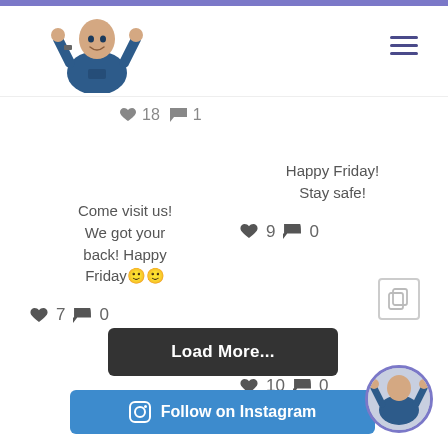[Figure (screenshot): Website header with doctor in scrubs giving thumbs up and hamburger menu icon]
♥ 18  💬 1
Happy Friday!
Stay safe!
♥ 9  💬 0
Come visit us! We got your back! Happy Friday🙂🙂
♥ 7  💬 0
[Figure (illustration): Copy/share icon]
♥ 10  💬 0
Load More...
Follow on Instagram
[Figure (photo): Small circular thumbnail of doctor in scrubs giving thumbs up]